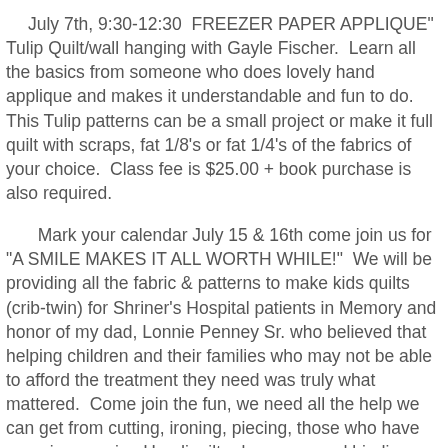July 7th, 9:30-12:30  FREEZER PAPER APPLIQUE" Tulip Quilt/wall hanging with Gayle Fischer.  Learn all the basics from someone who does lovely hand applique and makes it understandable and fun to do.  This Tulip patterns can be a small project or make it full quilt with scraps, fat 1/8's or fat 1/4's of the fabrics of your choice.  Class fee is $25.00 + book purchase is also required.
Mark your calendar July 15 & 16th come join us for "A SMILE MAKES IT ALL WORTH WHILE!"  We will be providing all the fabric & patterns to make kids quilts (crib-twin) for Shriner's Hospital patients in Memory and honor of my dad, Lonnie Penney Sr. who believed that helping children and their families who may not be able to afford the treatment they need was truly what mattered.  Come join the fun, we need all the help we can get from cutting, ironing, piecing, those who have experience using Handiquilter longarms and binding.  We would like to include pillow cases as well with each quilt, so we really need all the help we can get.  Lunch will be provided as